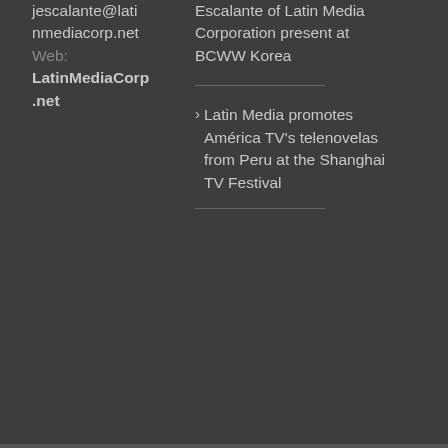jescalante@latinmediacorp.net Web: LatinMediaCorp.net
Escalante of Latin Media Corporation present at BCWW Korea
Latin Media promotes América TV's telenovelas from Peru at the Shanghai TV Festival